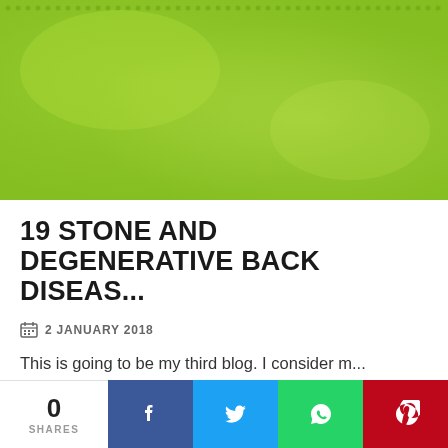[Figure (photo): Green dotted/halftone pattern background image, lime green color]
19 STONE AND DEGENERATIVE BACK DISEAS...
2 JANUARY 2018
This is going to be my third blog. I consider m...
0 SHARES